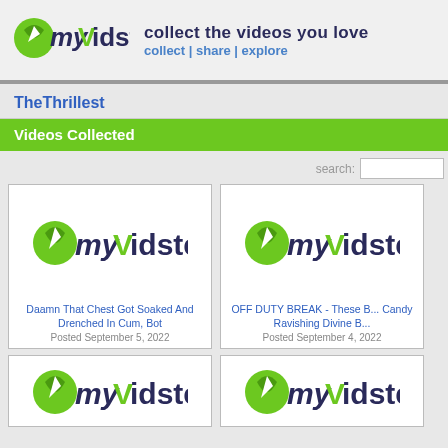[Figure (logo): myVidster logo with green leaf/checkmark icon and blue text]
collect the videos you love
collect | share | explore
TheThrillest
Videos Collected
search:
[Figure (logo): myVidster placeholder thumbnail logo]
Daamn That Chest Got Soaked And Drenched In Cum, Bot
Posted September 5, 2022
[Figure (logo): myVidster placeholder thumbnail logo (partially visible)]
OFF DUTY BREAK - These B... Candy Ravishing Divine B...
Posted September 4, 2022
[Figure (logo): myVidster placeholder thumbnail (bottom left, partial)]
[Figure (logo): myVidster placeholder thumbnail (bottom right, partial)]